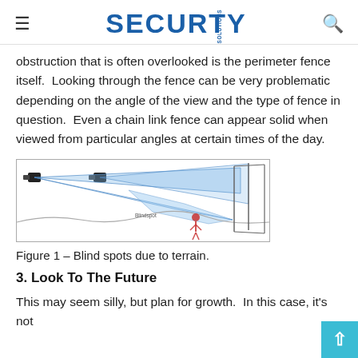SECURITY SOLUTIONS
obstruction that is often overlooked is the perimeter fence itself.  Looking through the fence can be very problematic depending on the angle of the view and the type of fence in question.  Even a chain link fence can appear solid when viewed from particular angles at certain times of the day.
[Figure (illustration): Diagram showing two cameras on the left with overlapping fields of view, blue shaded areas indicating view coverage, a labeled 'Blindspot' area in the middle, and a red figure in the blind spot on the right side, illustrating blind spots due to terrain.]
Figure 1 – Blind spots due to terrain.
3. Look To The Future
This may seem silly, but plan for growth.  In this case, it's not